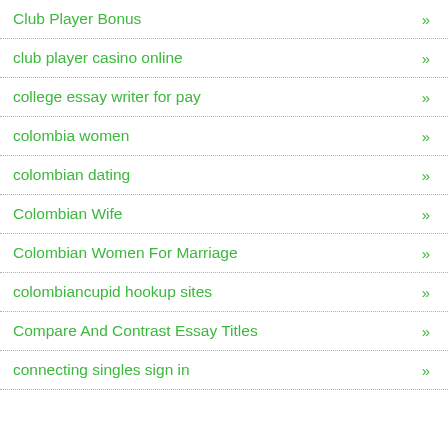Club Player Bonus »
club player casino online »
college essay writer for pay »
colombia women »
colombian dating »
Colombian Wife »
Colombian Women For Marriage »
colombiancupid hookup sites »
Compare And Contrast Essay Titles »
connecting singles sign in »